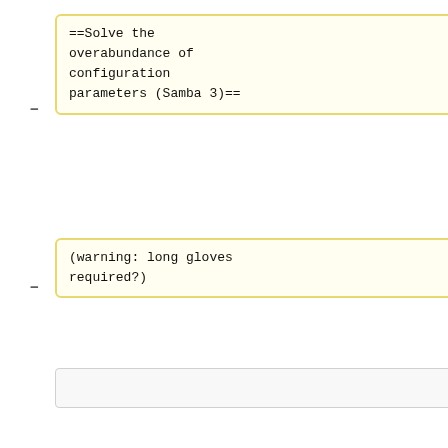==Solve the overabundance of configuration parameters (Samba 3)==
(warning: long gloves required?)
Samba is a great Active Directory Domain Controller, but it is not an ideal directory server for a large, passionate and important user base: Sites with Samba SMB servers, but also general purpose Linux servers.  A smaller subset of these sites